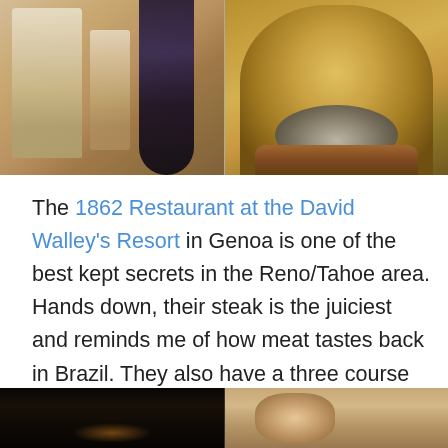[Figure (photo): Two food/drink photos side by side: left shows a tall creamy drink in a glass, right shows a curry or stew dish in a metal serving bowl on a stand]
The 1862 Restaurant at the David Walley's Resort in Genoa is one of the best kept secrets in the Reno/Tahoe area. Hands down, their steak is the juiciest and reminds me of how meat tastes back in Brazil. They also have a three course prix-fixe menu for $35 that is well worth it, but of course my dad and I added a fourth course. Thank goodness we were staying at the resort and I didn't have to drive that night, because I went into a food coma afterwards.
[Figure (photo): Two more restaurant/food photos at the bottom of the page: left shows a dark nighttime restaurant exterior, right shows a person or food close-up]